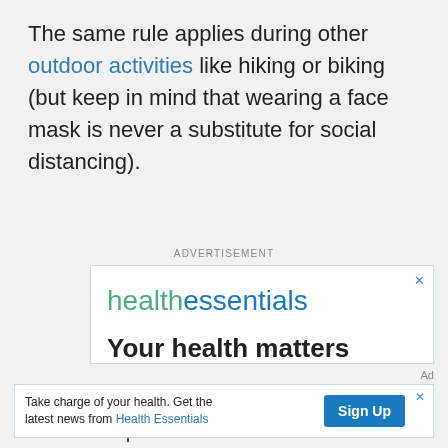The same rule applies during other outdoor activities like hiking or biking (but keep in mind that wearing a face mask is never a substitute for social distancing).
ADVERTISEMENT
[Figure (other): Advertisement banner for Health Essentials: 'Your health matters. Got a question? Our experts offer answers in']
[Figure (other): Bottom ad banner: 'Take charge of your health. Get the latest news from Health Essentials' with Sign Up button]